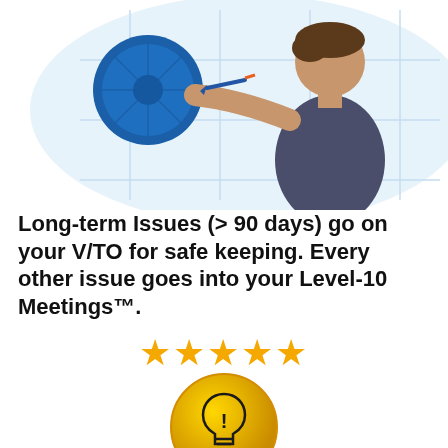[Figure (illustration): Illustration of a person throwing a dart at a dartboard on a wall, with a light blue abstract background shape. The dartboard is blue and the person is wearing a dark shirt, viewed from behind.]
Long-term Issues (> 90 days) go on your V/TO for safe keeping. Every other issue goes into your Level-10 Meetings™.
[Figure (infographic): Five gold/yellow star rating icons in a row]
[Figure (infographic): A golden circle badge with a lightbulb icon and exclamation mark, labeled QUICK TIP at the bottom]